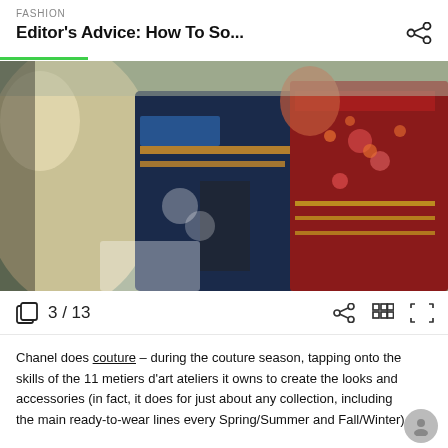FASHION
Editor's Advice: How To So...
[Figure (photo): Two models wearing ornate, heavily embellished haute couture garments with beading and floral embroidery. The garments are richly decorated in blue and red tones with gold detailing.]
3 / 13
Chanel does couture – during the couture season, tapping onto the skills of the 11 metiers d'art ateliers it owns to create the looks and accessories (in fact, it does for just about any collection, including the main ready-to-wear lines every Spring/Summer and Fall/Winter).